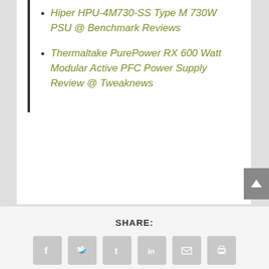Hiper HPU-4M730-SS Type M 730W PSU @ Benchmark Reviews
Thermaltake PurePower RX 600 Watt Modular Active PFC Power Supply Review @ Tweaknews
SHARE: